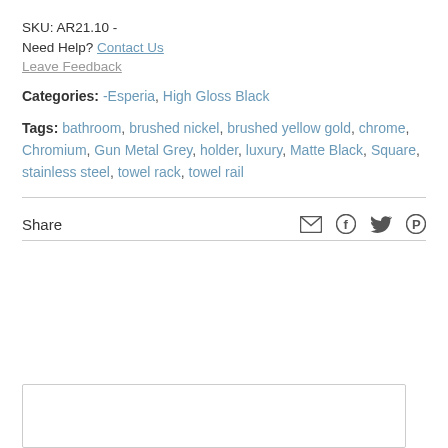SKU: AR21.10 -
Need Help? Contact Us
Leave Feedback
Categories: -Esperia, High Gloss Black
Tags: bathroom, brushed nickel, brushed yellow gold, chrome, Chromium, Gun Metal Grey, holder, luxury, Matte Black, Square, stainless steel, towel rack, towel rail
Share
[Figure (other): Empty comment/review text box]